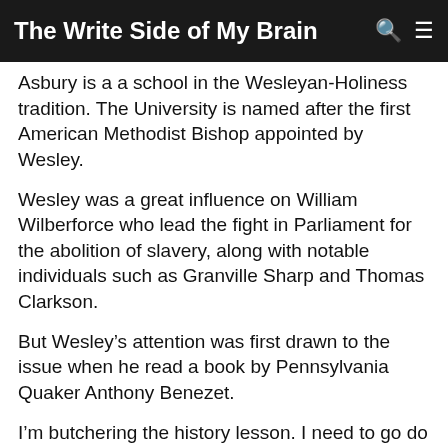The Write Side of My Brain
Asbury is a a school in the Wesleyan-Holiness tradition. The University is named after the first American Methodist Bishop appointed by Wesley.
Wesley was a great influence on William Wilberforce who lead the fight in Parliament for the abolition of slavery, along with notable individuals such as Granville Sharp and Thomas Clarkson.
But Wesley's attention was first drawn to the issue when he read a book by Pennsylvania Quaker Anthony Benezet.
I'm butchering the history lesson. I need to go do some research and reading on my own.
Wesley was 69 when he first read Benezet's work. The age 69 in 1772 was a lot older than it is today. Wesley lived another 19 years and his final letter was to William